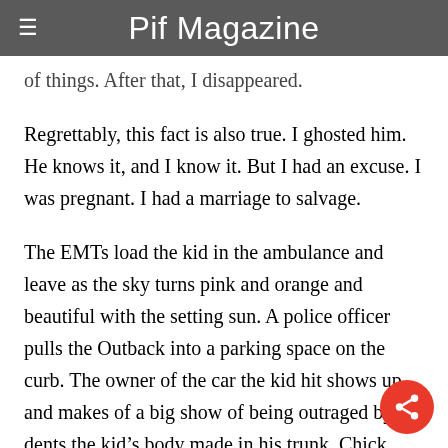Pif Magazine
of things. After that, I disappeared.
Regrettably, this fact is also true. I ghosted him. He knows it, and I know it. But I had an excuse. I was pregnant. I had a marriage to salvage.
The EMTs load the kid in the ambulance and leave as the sky turns pink and orange and beautiful with the setting sun. A police officer pulls the Outback into a parking space on the curb. The owner of the car the kid hit shows up and makes of a big show of being outraged by the dents the kid's body made in his trunk. Chick Wing Mike and I stand there. The cops take our